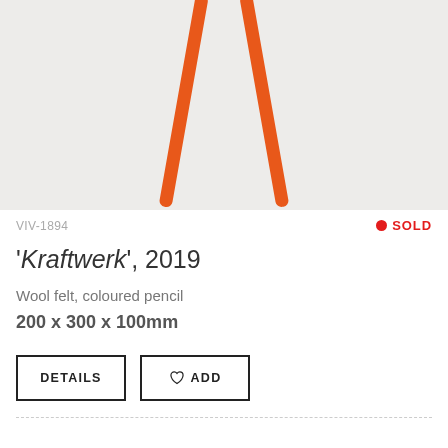[Figure (photo): Photo of two orange coloured pencils or sticks forming an inverted V shape against a light grey background]
VIV-1894
SOLD
'Kraftwerk', 2019
Wool felt, coloured pencil
200 x 300 x 100mm
DETAILS
ADD